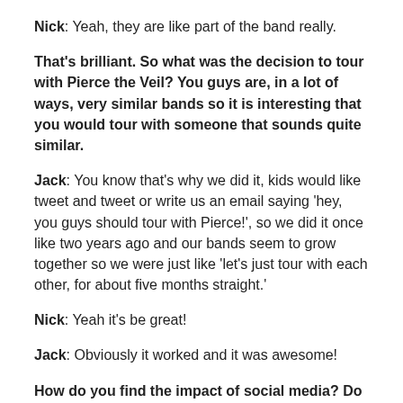Nick: Yeah, they are like part of the band really.
That's brilliant. So what was the decision to tour with Pierce the Veil? You guys are, in a lot of ways, very similar bands so it is interesting that you would tour with someone that sounds quite similar.
Jack: You know that's why we did it, kids would like tweet and tweet or write us an email saying 'hey, you guys should tour with Pierce!', so we did it once like two years ago and our bands seem to grow together so we were just like 'let's just tour with each other, for about five months straight.'
Nick: Yeah it's be great!
Jack: Obviously it worked and it was awesome!
How do you find the impact of social media? Do